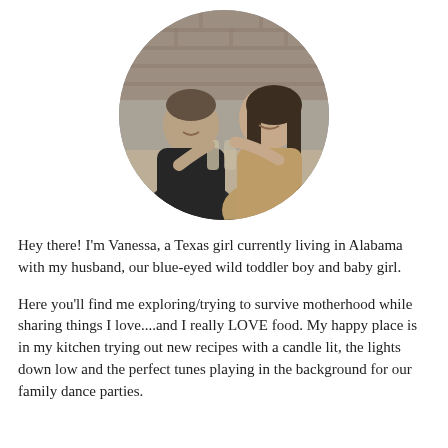[Figure (photo): Black and white photo of a man and woman sitting together at a café or restaurant, clinking glasses with drinks, smiling at each other. Brick wall visible in background. Photo is cropped in a circle.]
Hey there! I'm Vanessa, a Texas girl currently living in Alabama with my husband, our blue-eyed wild toddler boy and baby girl.
Here you'll find me exploring/trying to survive motherhood while sharing things I love....and I really LOVE food. My happy place is in my kitchen trying out new recipes with a candle lit, the lights down low and the perfect tunes playing in the background for our family dance parties.